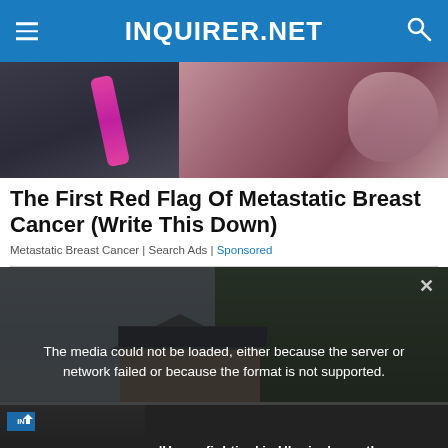INQUIRER.NET
[Figure (photo): Close-up photo of a person's torso wearing a dark athletic top with a pink strap, with hands crossing over chest area]
The First Red Flag Of Metastatic Breast Cancer (Write This Down)
Metastatic Breast Cancer | Search Ads | Sponsored
[Figure (photo): Photo of a house with solar panels on the roof surrounded by green trees and blue sky]
The media could not be loaded, either because the server or network failed or because the format is not supported.
'Heavy fighting' in Ukraine's southern offensive
'HEAVY FIGHTING' IN UKRAINE'S SOUTHERN OFFENSIVE